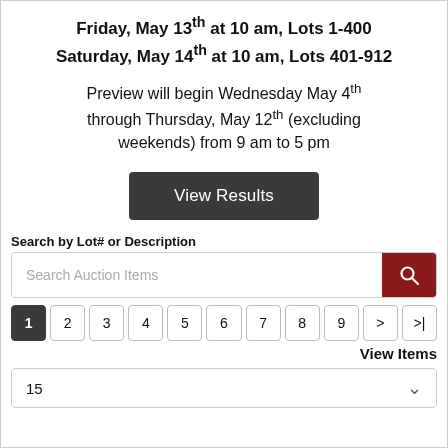Friday, May 13th at 10 am, Lots 1-400
Saturday, May 14th at 10 am, Lots 401-912
Preview will begin Wednesday May 4th through Thursday, May 12th (excluding weekends) from 9 am to 5 pm
View Results
Search by Lot# or Description
Search Auction Items
1 2 3 4 5 6 7 8 9 > >|
View Items
15